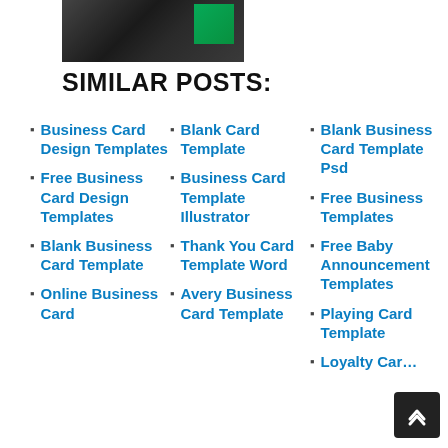[Figure (photo): Thumbnail image of business cards, partially visible at top left]
SIMILAR POSTS:
Business Card Design Templates
Free Business Card Design Templates
Blank Business Card Template
Online Business Card
Blank Card Template
Business Card Template Illustrator
Thank You Card Template Word
Avery Business Card Template
Blank Business Card Template Psd
Free Business Templates
Free Baby Announcement Templates
Playing Card Template
Loyalty Car…